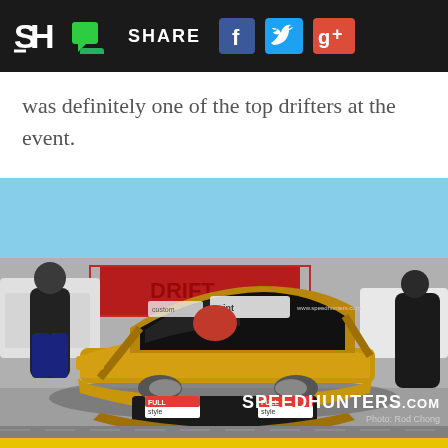Speedhunters share navigation bar with social icons: Facebook, Twitter, Google+
was definitely one of the top drifters at the event.
[Figure (photo): Front view of a gold/yellow Nissan drift car with sponsors on the windshield including race stickers, surrounded by people in black shirts at a motorsport event. Car has damage on front bumper. Speedhunters.com watermark with 'Photo: Rod Chong' credit.]